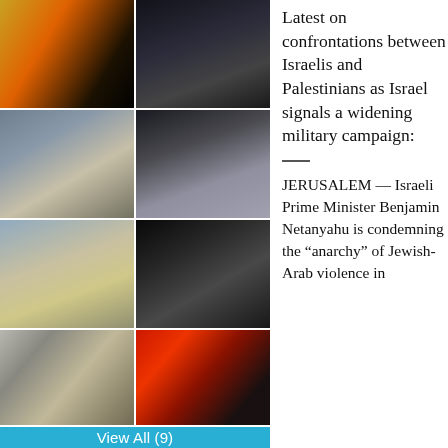[Figure (photo): Grid of 8 news photos showing Israeli-Palestinian conflict scenes: military/fire, night crowd at dock, UN worker with distressed people, smoke/fire, smoke in sky, crowd at night, rescue workers carrying stretcher, crowd with Turkish and Palestinian flags. Plus a 'View All (9)' button.]
Latest on confrontations between Israelis and Palestinians as Israel signals a widening military campaign:
JERUSALEM — Israeli Prime Minister Benjamin Netanyahu is condemning the “anarchy” of Jewish-Arab violence in